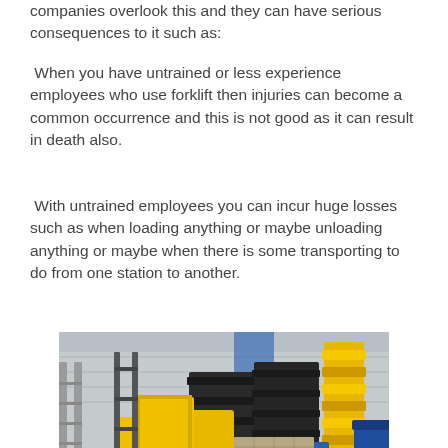companies overlook this and they can have serious consequences to it such as:
When you have untrained or less experience employees who use forklift then injuries can become a common occurrence and this is not good as it can result in death also.
With untrained employees you can incur huge losses such as when loading anything or maybe unloading anything or maybe when there is some transporting to do from one station to another.
[Figure (photo): A yellow forklift in a warehouse surrounded by stacked black plastic bins/containers, yellow stacked bins on the right, and blue bins/containers. Industrial warehouse setting with metal walls visible in the background.]